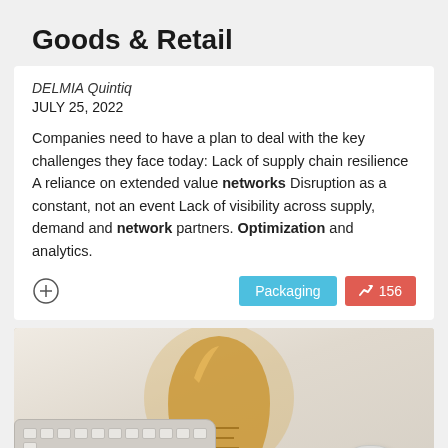Goods & Retail
DELMIA Quintiq
JULY 25, 2022
Companies need to have a plan to deal with the key challenges they face today: Lack of supply chain resilience A reliance on extended value networks Disruption as a constant, not an event Lack of visibility across supply, demand and network partners. Optimization and analytics.
[Figure (photo): Photo of a vintage Edison-style light bulb lying on a white wooden surface next to a white Apple keyboard and a white computer mouse]